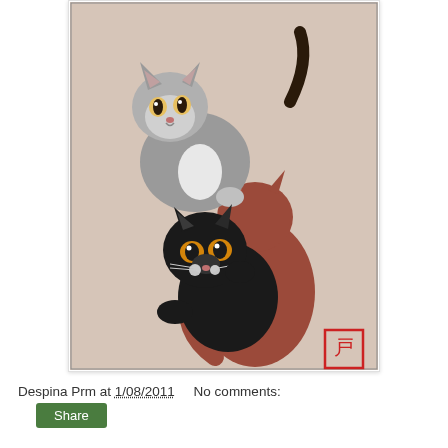[Figure (illustration): Japanese woodblock print style illustration of three cats: a gray cat at the top left looking forward, a black cat in the middle with orange/amber eyes, and a brown/reddish cat seen from behind with its tail raised. Artist's red seal stamp visible in bottom right corner of the print. Print has a beige/pinkish background with a thin black border.]
Despina Prm at 1/08/2011    No comments:
Share